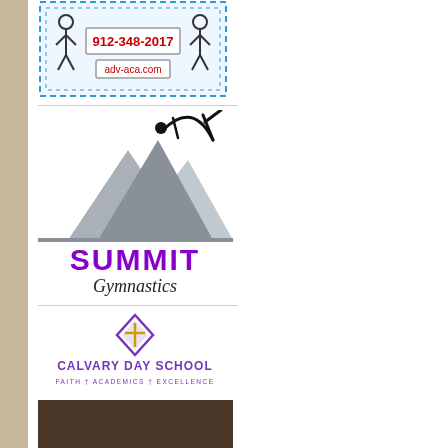[Figure (logo): ADV-ACA Academy logo with stick figures and text '912-348-2017' and 'adv-aca.com' on a blue dotted border background]
[Figure (logo): Summit Gymnastics logo with mountain silhouette and gymnast, purple bold SUMMIT text and cursive Gymnastics text]
[Figure (logo): Calvary Day School logo with purple diamond/cross emblem and text 'CALVARY DAY SCHOOL' and 'FAITH + ACADEMICS + EXCELLENCE']
[Figure (logo): Latah logo with brown background and teal circular emblem with a person figure, white lowercase 'latsh' text at bottom]